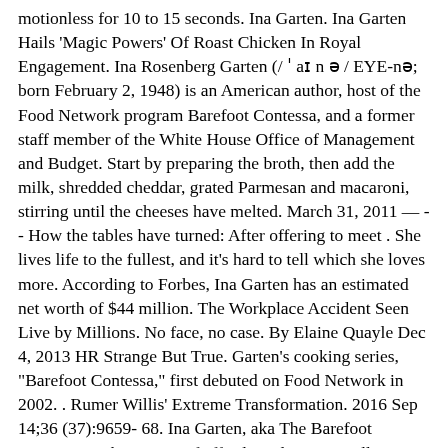...motionless for 10 to 15 seconds. Ina Garten. Ina Garten Hails 'Magic Powers' Of Roast Chicken In Royal Engagement. Ina Rosenberg Garten (/ ˈ aɪ n ə / EYE-nə; born February 2, 1948) is an American author, host of the Food Network program Barefoot Contessa, and a former staff member of the White House Office of Management and Budget. Start by preparing the broth, then add the milk, shredded cheddar, grated Parmesan and macaroni, stirring until the cheeses have melted. March 31, 2011 — -- How the tables have turned: After offering to meet . She lives life to the fullest, and it's hard to tell which she loves more. According to Forbes, Ina Garten has an estimated net worth of $44 million. The Workplace Accident Seen Live by Millions. No face, no case. By Elaine Quayle Dec 4, 2013 HR Strange But True. Garten's cooking series, "Barefoot Contessa," first debuted on Food Network in 2002. . Rumer Willis' Extreme Transformation. 2016 Sep 14;36 (37):9659-68. Ina Garten, aka The Barefoot Contessa, is the picture of effortless elegance. Follow @inagarten on Twitter. Millions of people love Ina Garten because she writes recipes that make home cooks look great; family and friends shower them with praise and yet the dishes couldn't be simpler to prepare using ingredients found in any grocery store. The doctor prescribed me all sorts of treatments, which didn't work or weren't sustainable. Check out the deals! She has . Updated: Dec 4, 2013. Ina Garten reveals why she and her husband never had kids In an interview for Katie Couric's podcast, the woman better known as the "Barefoot Contessa".